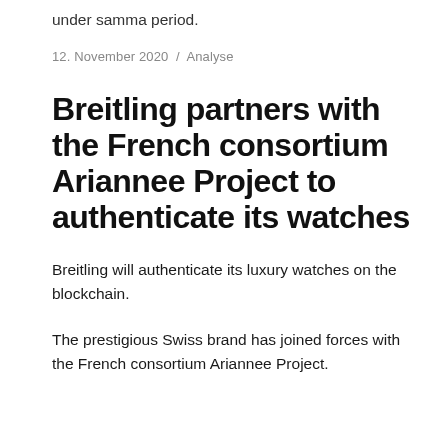under samma period.
12. November 2020 / Analyse
Breitling partners with the French consortium Ariannee Project to authenticate its watches
Breitling will authenticate its luxury watches on the blockchain.
The prestigious Swiss brand has joined forces with the French consortium Ariannee Project.